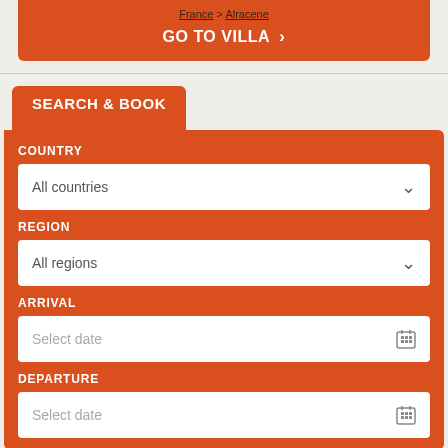France > Alracene
GO TO VILLA >
SEARCH & BOOK
COUNTRY
All countries
REGION
All regions
ARRIVAL
Select date
DEPARTURE
Select date